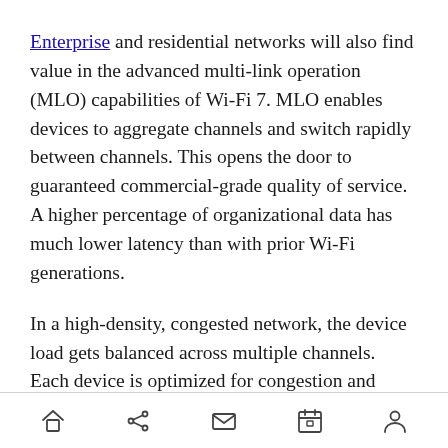Enterprise and residential networks will also find value in the advanced multi-link operation (MLO) capabilities of Wi-Fi 7. MLO enables devices to aggregate channels and switch rapidly between channels. This opens the door to guaranteed commercial-grade quality of service. A higher percentage of organizational data has much lower latency than with prior Wi-Fi generations.
In a high-density, congested network, the device load gets balanced across multiple channels. Each device is optimized for congestion and capacity improves by up to five times for congested
[navigation bar with home, share, mail, calendar, person icons]